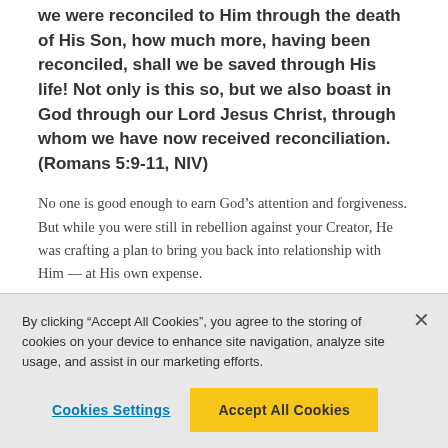we were reconciled to Him through the death of His Son, how much more, having been reconciled, shall we be saved through His life! Not only is this so, but we also boast in God through our Lord Jesus Christ, through whom we have now received reconciliation. (Romans 5:9-11, NIV)
No one is good enough to earn God’s attention and forgiveness. But while you were still in rebellion against your Creator, He was crafting a plan to bring you back into relationship with Him — at His own expense.
When you consider how God displayed His love on the cross, you have to factor in the price paid. As far as the apostle Paul
By clicking “Accept All Cookies”, you agree to the storing of cookies on your device to enhance site navigation, analyze site usage, and assist in our marketing efforts.